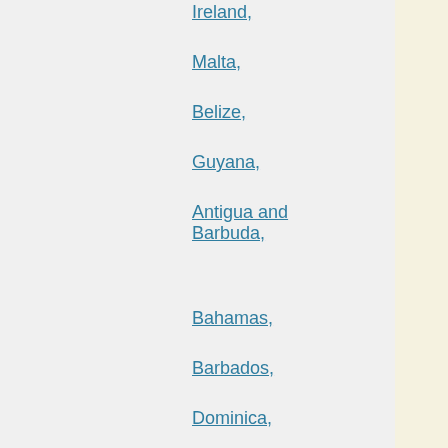Ireland,
Malta,
Belize,
Guyana,
Antigua and Barbuda,
Bahamas,
Barbados,
Dominica,
Grenada,
Jamaica,
Saint Kitts and Nevis,
Saint Lucia,
Saint Vincent and the Grenadines,
Trinidad and Tobago,
Bermuda,
Canada,